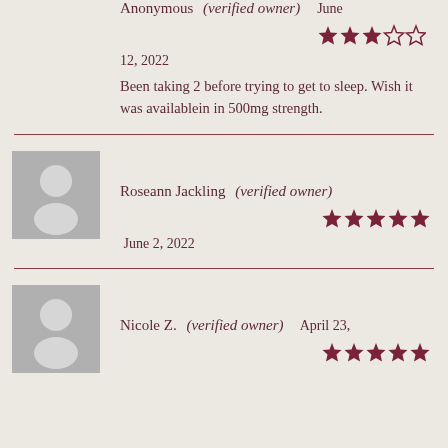Anonymous (verified owner) June 12, 2022
Been taking 2 before trying to get to sleep. Wish it was availablein in 500mg strength.
Roseann Jackling (verified owner) June 2, 2022
Nicole Z. (verified owner) April 23,